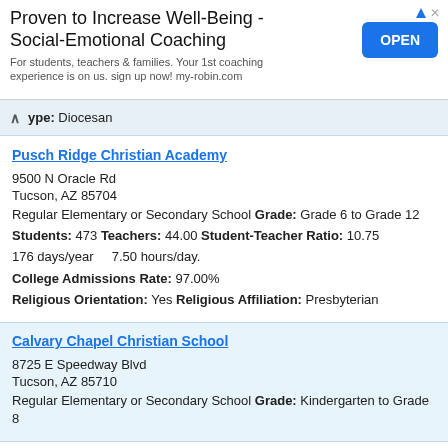[Figure (other): Advertisement banner: 'Proven to Increase Well-Being - Social-Emotional Coaching' with an OPEN button]
ype: Diocesan
Pusch Ridge Christian Academy
9500 N Oracle Rd
Tucson, AZ 85704
Regular Elementary or Secondary School Grade: Grade 6 to Grade 12
Students: 473 Teachers: 44.00 Student-Teacher Ratio: 10.75
176 days/year    7.50 hours/day.
College Admissions Rate: 97.00%
Religious Orientation: Yes Religious Affiliation: Presbyterian
Calvary Chapel Christian School
8725 E Speedway Blvd
Tucson, AZ 85710
Regular Elementary or Secondary School Grade: Kindergarten to Grade 8